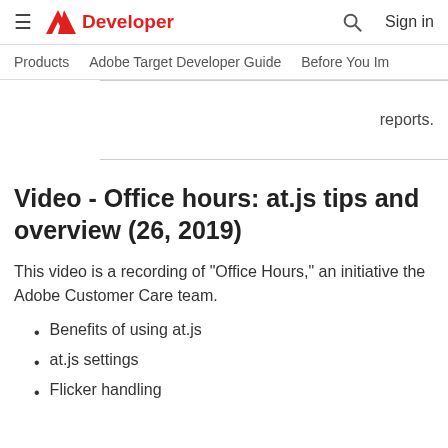≡  Adobe Developer  🔍  Sign in
Products   Adobe Target Developer Guide   Before You Im...
reports.
Video - Office hours: at.js tips and overview (26, 2019)
This video is a recording of "Office Hours," an initiative the Adobe Customer Care team.
Benefits of using at.js
at.js settings
Flicker handling